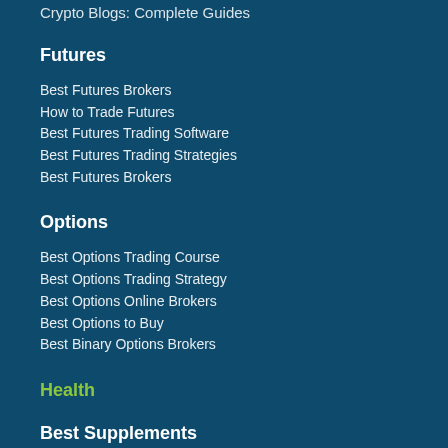Crypto Blogs: Complete Guides
Futures
Best Futures Brokers
How to Trade Futures
Best Futures Trading Software
Best Futures Trading Strategies
Best Futures Brokers
Options
Best Options Trading Course
Best Options Trading Strategy
Best Options Online Brokers
Best Options to Buy
Best Binary Options Brokers
Health
Best Supplements